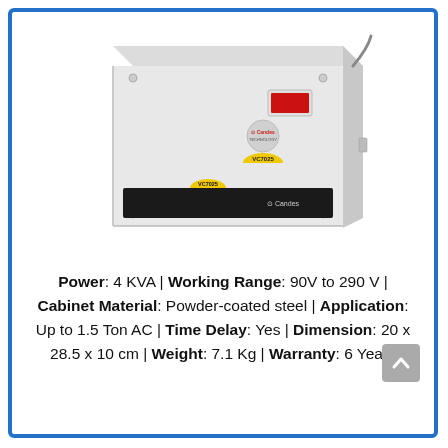[Figure (photo): A white rectangular voltage stabilizer/regulator device. It is a wall-mounted unit with a black panel at the bottom featuring a yellow semicircle logo and brand name. On the front face there is a red LED display indicator, a circular Candes brand logo, and a yellow semicircle badge. A power cable exits from the top right side.]
Power: 4 KVA | Working Range: 90V to 290 V | Cabinet Material: Powder-coated steel | Application: Up to 1.5 Ton AC | Time Delay: Yes | Dimension: 20 x 28.5 x 10 cm | Weight: 7.1 Kg | Warranty: 6 Years